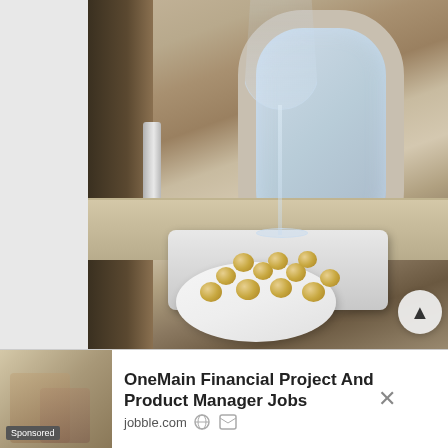[Figure (photo): Photograph of an airline first class seat area showing a champagne flute glass on a silver tray with a bowl of macadamia nuts, next to an oval aircraft window, in a beige/tan luxury cabin interior]
[Figure (photo): Advertisement thumbnail image showing people in what appears to be a financial office setting]
Sponsored
OneMain Financial Project And Product Manager Jobs
jobble.com